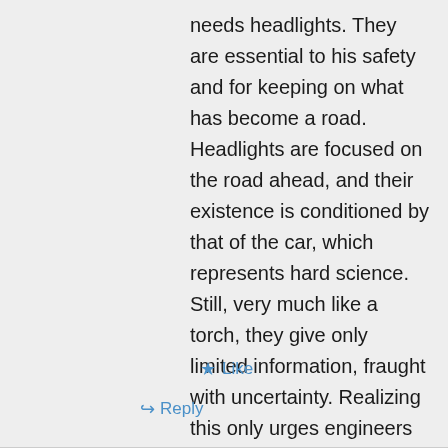needs headlights. They are essential to his safety and for keeping on what has become a road. Headlights are focused on the road ahead, and their existence is conditioned by that of the car, which represents hard science. Still, very much like a torch, they give only limited information, fraught with uncertainty. Realizing this only urges engineers to produce better headlights.
Like
Reply